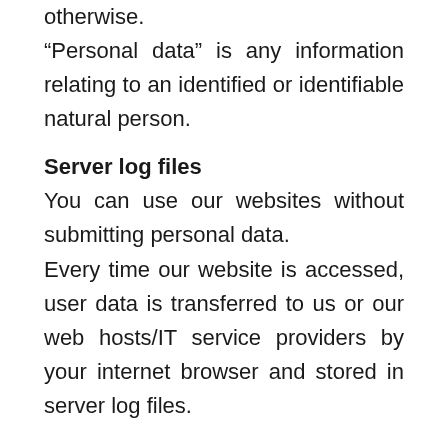otherwise. “Personal data” is any information relating to an identified or identifiable natural person.
Server log files
You can use our websites without submitting personal data.
Every time our website is accessed, user data is transferred to us or our web hosts/IT service providers by your internet browser and stored in server log files.